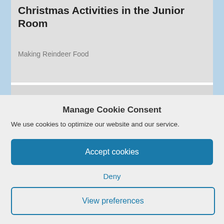Christmas Activities in the Junior Room
Making Reindeer Food
READ MORE
Manage Cookie Consent
We use cookies to optimize our website and our service.
Accept cookies
Deny
View preferences